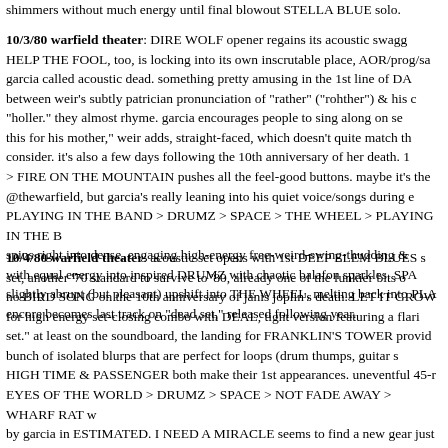shimmers without much energy until final blowout STELLA BLUE solo.
10/3/80 warfield theater: DIRE WOLF opener regains its acoustic swagg... HELP THE FOOL, too, is locking into its own inscrutable place, AOR/prog/sa... garcia called acoustic dead. something pretty amusing in the 1st line of DA... between weir's subtly patrician pronunciation of "rather" ("rohther") & his c... "holler." they almost rhyme. garcia encourages people to sing along on se... this for his mother," weir adds, straight-faced, which doesn't quite match th... consider. it's also a few days following the 10th anniversary of her death. 1... > FIRE ON THE MOUNTAIN pushes all the feel-good buttons. maybe it's the... @thewarfield, but garcia's really leaning into his quiet voice/songs during e... PLAYING IN THE BAND > DRUMZ > SPACE > THE WHEEL > PLAYING IN THE B... spins right into dense, engaging high-energy free-weird-swing-thudding &... with equal energy into inspired DRUMZ with chaotic balafon sparkles. SPA... slightly abrupt (but pleasant) upshift into THE WHEEL, melting back into PLA... encore becomes last track on "dead set," released following year.
10/4/80 warfield theater: acoustic set opens with 1st DEEP ELEM BLUES s... set, another '70 standard to survive to '80, already one of the funkier bits o... no BIRD SONG on the 10th anniversary of janis joplin's death. LET IT GROW... for high energy set-closing combo with DEAL, tight version featuring a flari... set." at least on the soundboard, the landing for FRANKLIN'S TOWER provid... bunch of isolated blurps that are perfect for loops (drum thumps, guitar s... HIGH TIME & PASSENGER both make their 1st appearances. uneventful 45-... EYES OF THE WORLD > DRUMZ > SPACE > NOT FADE AWAY > WHARF RAT w... by garcia in ESTIMATED. I NEED A MIRACLE seems to find a new gear just be...